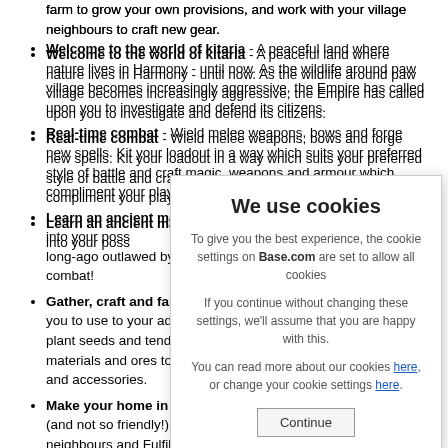farm to grow your own provisions, and work with your village neighbours to craft new gear.
Welcome to the world of kitaria - A peaceful land where nature lives in Harmony - until now. As the wildlife around paw village becomes increasingly aggressive, the Empire has called upon you to investigate and defend its citizens.
Real-time combat - Wield melee weapons, bows and forge new spells. Kit your loadout in a way which suits your preferred style of battle and craft magic, weapons and armour which compliment your play style.
Learn an ancient magic - when an age-old Spellbook comes into your possession, use it to learn a kind of magic long-ago outlawed by... combat!
Gather, craft and far... you to use to your ad... plant seeds and tend... materials and ores to... and accessories.
Make your home in ... (and not so friendly!)... neighbours and Fulfil... your New friends, The... relationships grow!
Local co-op mode - ... Double your firepowe... Flexible combat syste... strengths.
We use cookies
To give you the best experience, the cookie settings on Base.com are set to allow all cookies
If you continue without changing these settings, we'll assume that you are happy with this.
You can read more about our cookies here, or change your cookie settings here.
Continue